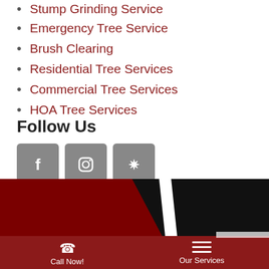Stump Grinding Service
Emergency Tree Service
Brush Clearing
Residential Tree Services
Commercial Tree Services
HOA Tree Services
Follow Us
[Figure (other): Social media icons: Facebook, Instagram, Yelp]
[Figure (other): Footer with diagonal black and dark red shapes, Call Now and Our Services buttons]